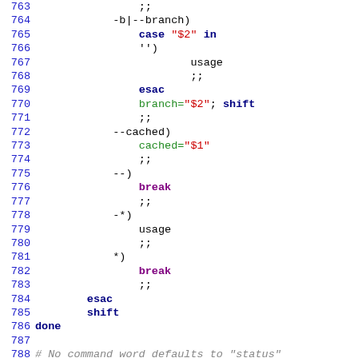[Figure (screenshot): Shell script source code viewer showing lines 763-792, with syntax highlighting: line numbers in blue, keywords in bold purple/dark blue, string literals in red, variable assignments in green, comments in gray italic.]